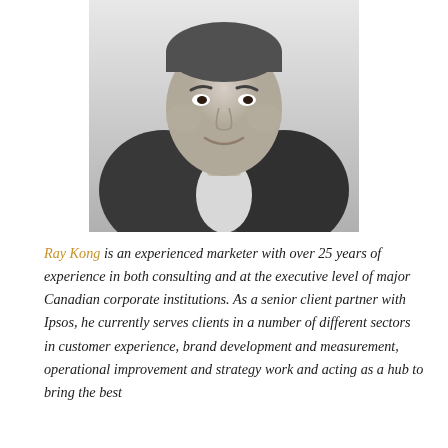[Figure (photo): Black and white professional headshot of Ray Kong, a middle-aged man wearing a suit jacket and white shirt, smiling at the camera]
Ray Kong is an experienced marketer with over 25 years of experience in both consulting and at the executive level of major Canadian corporate institutions. As a senior client partner with Ipsos, he currently serves clients in a number of different sectors in customer experience, brand development and measurement, operational improvement and strategy work and acting as a hub to bring the best